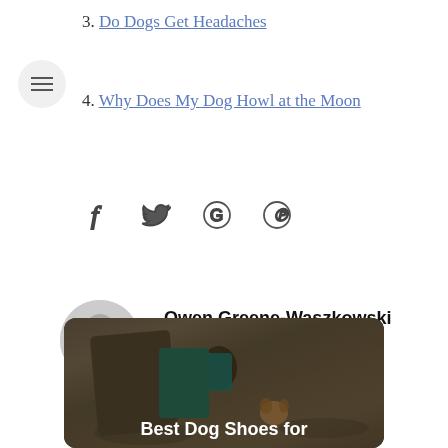3. Do Dogs Get Headaches
4. Why Does My Dog Howl at the Moon
[Figure (other): Social media share icons: Facebook (f), Twitter (bird), Google (G), Pinterest (P)]
Owen Greene-Waszkowski
Connect with Owen:
[Figure (photo): Photo of a person with a large backpack and a dog on rocky/brushy terrain. Overlay text reads 'Best Dog Shoes for']